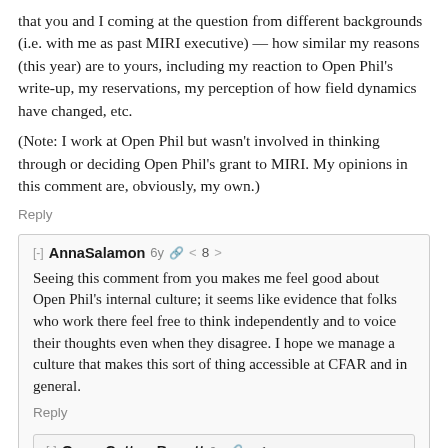that you and I coming at the question from different backgrounds (i.e. with me as past MIRI executive) — how similar my reasons (this year) are to yours, including my reaction to Open Phil's write-up, my reservations, my perception of how field dynamics have changed, etc.
(Note: I work at Open Phil but wasn't involved in thinking through or deciding Open Phil's grant to MIRI. My opinions in this comment are, obviously, my own.)
Reply
[-] AnnaSalamon 6y 🔗 < 8 >
Seeing this comment from you makes me feel good about Open Phil's internal culture; it seems like evidence that folks who work there feel free to think independently and to voice their thoughts even when they disagree. I hope we manage a culture that makes this sort of thing accessible at CFAR and in general.
Reply
[-] Owen Cotton-Barratt 6y 🔗 < 1 >
Interestingly I don't think there is a big gap between